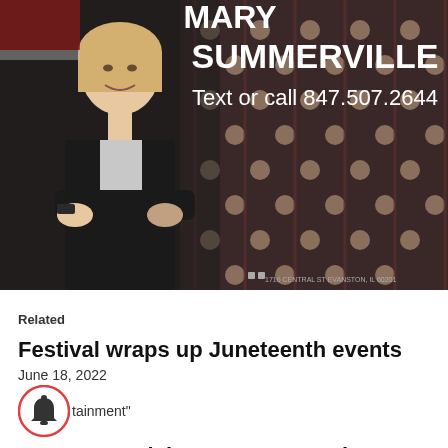[Figure (photo): Advertisement photo of Mary Summerville, a woman in a black blazer with arms crossed, smiling, against a wine rack background. Text overlay reads 'MARY SUMMERVILLE Text or call 847.507.2644']
Related
Festival wraps up Juneteenth events
June 18, 2022
tainment"
Evanston celebrates Juneteenth